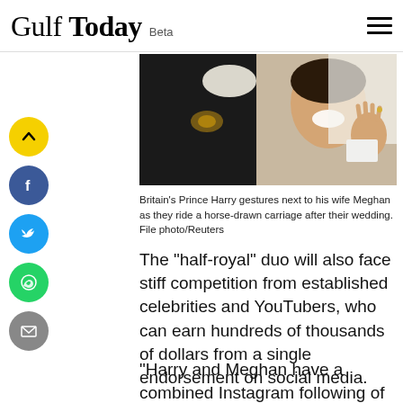Gulf Today Beta
[Figure (photo): Britain's Prince Harry and wife Meghan waving from a horse-drawn carriage after their wedding. Prince Harry gestures in dark military uniform, Meghan in white wedding dress waving and smiling.]
Britain's Prince Harry gestures next to his wife Meghan as they ride a horse-drawn carriage after their wedding. File photo/Reuters
The "half-royal" duo will also face stiff competition from established celebrities and YouTubers, who can earn hundreds of thousands of dollars from a single endorsement on social media.
"Harry and Meghan have a combined Instagram following of 10 million, which is eclipsed by the likes of teenage brand Cristi...